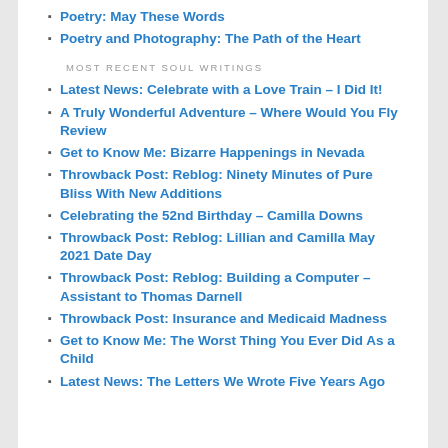Poetry: May These Words
Poetry and Photography: The Path of the Heart
MOST RECENT SOUL WRITINGS
Latest News: Celebrate with a Love Train – I Did It!
A Truly Wonderful Adventure – Where Would You Fly Review
Get to Know Me: Bizarre Happenings in Nevada
Throwback Post: Reblog: Ninety Minutes of Pure Bliss With New Additions
Celebrating the 52nd Birthday – Camilla Downs
Throwback Post: Reblog: Lillian and Camilla May 2021 Date Day
Throwback Post: Reblog: Building a Computer – Assistant to Thomas Darnell
Throwback Post: Insurance and Medicaid Madness
Get to Know Me: The Worst Thing You Ever Did As a Child
Latest News: The Letters We Wrote Five Years Ago